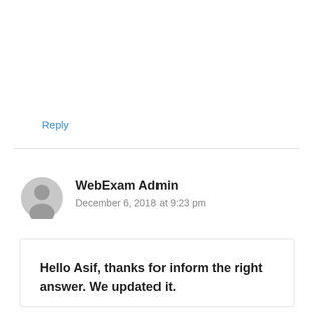Reply
WebExam Admin
December 6, 2018 at 9:23 pm
Hello Asif, thanks for inform the right answer. We updated it.